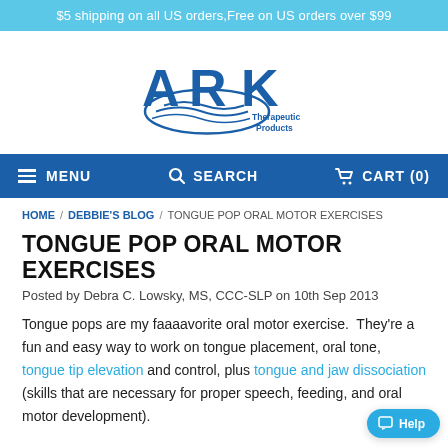$5 shipping on all US orders,Free on US orders over $99
[Figure (logo): ARK Therapeutic Products logo — large blue ARK letters with wave swoosh and 'Therapeutic Products' text]
MENU  SEARCH  CART (0)
HOME / DEBBIE'S BLOG / TONGUE POP ORAL MOTOR EXERCISES
TONGUE POP ORAL MOTOR EXERCISES
Posted by Debra C. Lowsky, MS, CCC-SLP on 10th Sep 2013
Tongue pops are my faaaavorite oral motor exercise. They're a fun and easy way to work on tongue placement, oral tone, tongue tip elevation and control, plus tongue and jaw dissociation (skills that are necessary for proper speech, feeding, and oral motor development).